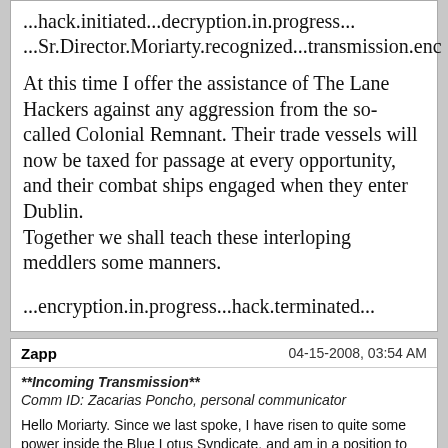...hack.initiated...decryption.in.progress...
...Sr.Director.Moriarty.recognized...transmission.enc
At this time I offer the assistance of The Lane Hackers against any aggression from the so-called Colonial Remnant. Their trade vessels will now be taxed for passage at every opportunity, and their combat ships engaged when they enter Dublin.
Together we shall teach these interloping meddlers some manners.
...encryption.in.progress...hack.terminated...
Zapp | 04-15-2008, 03:54 AM
**Incoming Transmission**
Comm ID: Zacarias Poncho, personal communicator
Hello Moriarty. Since we last spoke, I have risen to quite some power inside the Blue Lotus Syndicate, and am in a position to extend some diplomatic conditions to you.